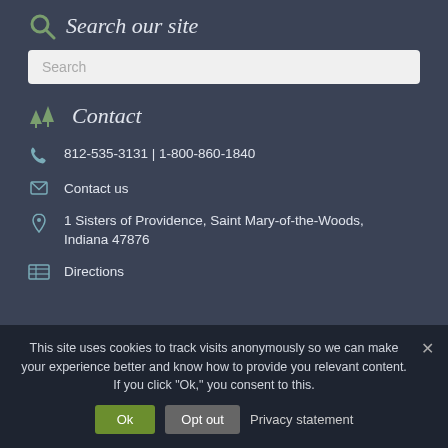Search our site
Search
Contact
812-535-3131 | 1-800-860-1840
Contact us
1 Sisters of Providence, Saint Mary-of-the-Woods, Indiana 47876
Directions
This site uses cookies to track visits anonymously so we can make your experience better and know how to provide you relevant content. If you click "Ok," you consent to this.
Ok
Opt out
Privacy statement